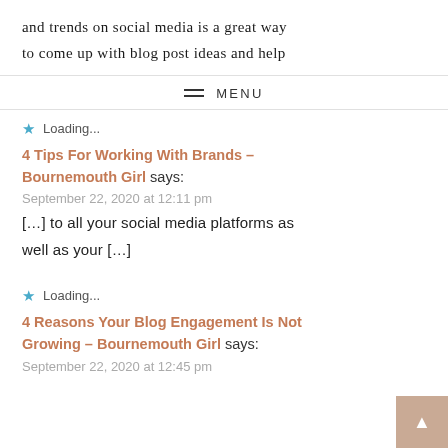and trends on social media is a great way to come up with blog post ideas and help
MENU
★ Loading...
4 Tips For Working With Brands – Bournemouth Girl says:
September 22, 2020 at 12:11 pm
[…] to all your social media platforms as well as your […]
★ Loading...
4 Reasons Your Blog Engagement Is Not Growing – Bournemouth Girl says:
September 22, 2020 at 12:45 pm